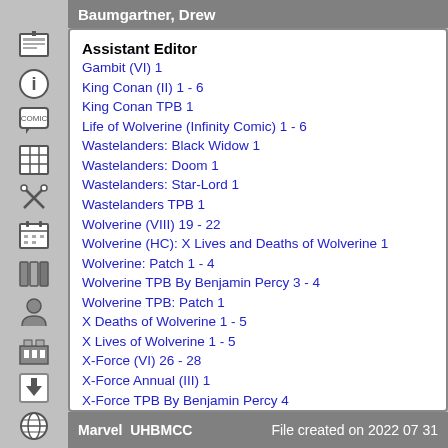Baumgartner, Drew
Assistant Editor
Gambit (VI) 1
King Conan (II) 1 - 6
King Conan TPB 1
Life of Wolverine (Infinity Comic) 1 - 6
Wastelanders: Black Widow 1
Wastelanders: Doom 1
Wastelanders: Star-Lord 1
Wastelanders TPB 1
Wolverine (VIII) 19 - 22
Wolverine (HC): X Lives and Deaths of Wolverine 1
Wolverine: Patch 1 - 4
Wolverine TPB By Benjamin Percy 3 - 4
Wolverine TPB: Patch 1
X Deaths of Wolverine 1 - 5
X Lives of Wolverine 1 - 5
X-Force (VI) 26 - 28
X-Force Annual (III) 1
X-Force TPB By Benjamin Percy 4
X-Men Legends (I) 9 - 12
X-Men Legends TPB (II) 2
Marvel  UHBMCC    File created on 2022 07 31